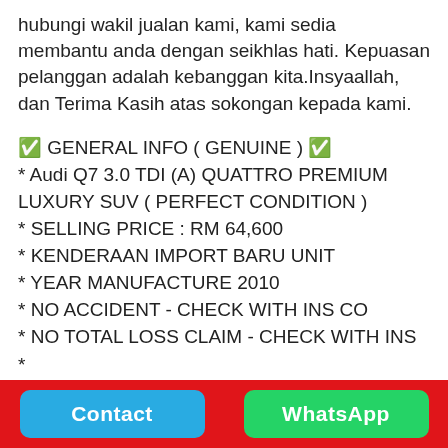hubungi wakil jualan kami, kami sedia membantu anda dengan seikhlas hati. Kepuasan pelanggan adalah kebanggan kita.Insyaallah, dan Terima Kasih atas sokongan kepada kami.
✅ GENERAL INFO ( GENUINE ) ✅
* Audi Q7 3.0 TDI (A) QUATTRO PREMIUM LUXURY SUV ( PERFECT CONDITION )
* SELLING PRICE : RM 64,600
* KENDERAAN IMPORT BARU UNIT
* YEAR MANUFACTURE 2010
* NO ACCIDENT - CHECK WITH INS CO
* NO TOTAL LOSS CLAIM - CHECK WITH INS CO
* NO FLOOD CLAIM - CHECK WITH INS CO & ALSO CHECK THE BOTTOM CHASSIS FRAME RECTIFY
✅ SPECIFICATION ✅
* 3000CC V6 TURBOCHARGED DIESEL ENGINE
Contact   WhatsApp